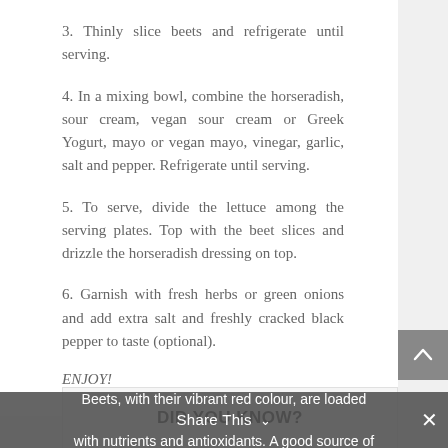3. Thinly slice beets and refrigerate until serving.
4. In a mixing bowl, combine the horseradish, sour cream, vegan sour cream or Greek Yogurt, mayo or vegan mayo, vinegar, garlic, salt and pepper. Refrigerate until serving.
5. To serve, divide the lettuce among the serving plates. Top with the beet slices and drizzle the horseradish dressing on top.
6. Garnish with fresh herbs or green onions and add extra salt and freshly cracked black pepper to taste (optional).
ENJOY!
DID YOU KNOW?
Beets, with their vibrant red colour, are loaded with nutrients and antioxidants. A good source of